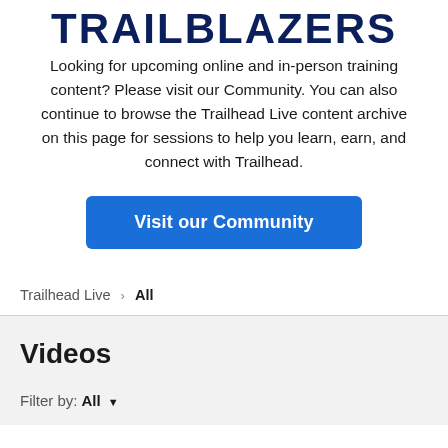TRAILBLAZERS
Looking for upcoming online and in-person training content? Please visit our Community. You can also continue to browse the Trailhead Live content archive on this page for sessions to help you learn, earn, and connect with Trailhead.
Visit our Community
Trailhead Live > All
Videos
Filter by: All